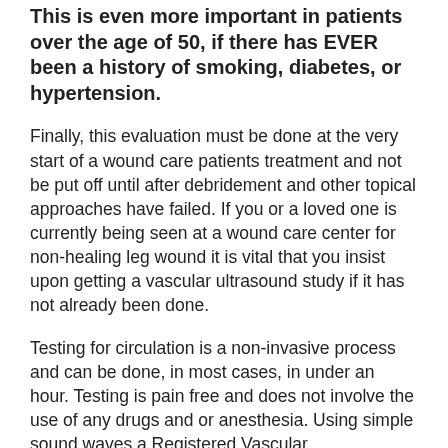This is even more important in patients over the age of 50, if there has EVER been a history of smoking, diabetes, or hypertension.
Finally, this evaluation must be done at the very start of a wound care patients treatment and not be put off until after debridement and other topical approaches have failed. If you or a loved one is currently being seen at a wound care center for non-healing leg wound it is vital that you insist upon getting a vascular ultrasound study if it has not already been done.
Testing for circulation is a non-invasive process and can be done, in most cases, in under an hour. Testing is pain free and does not involve the use of any drugs and or anesthesia. Using simple sound waves a Registered Vascular Ultrasonographer can easily scan for circulatory deficiencies and provide accurate decisions with the critical information they